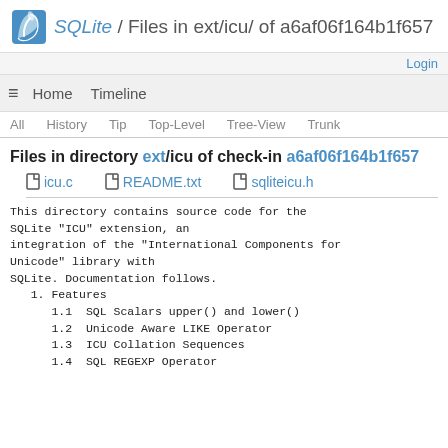SQLite / Files in ext/icu/ of a6af06f164b1f657
Login
≡  Home  Timeline
All  History  Tip  Top-Level  Tree-View  Trunk
Files in directory ext/icu of check-in a6af06f164b1f657
icu.c  README.txt  sqliteicu.h
This directory contains source code for the
SQLite "ICU" extension, an
integration of the "International Components for
Unicode" library with
SQLite. Documentation follows.
1. Features
1.1  SQL Scalars upper() and lower()
1.2  Unicode Aware LIKE Operator
1.3  ICU Collation Sequences
1.4  SQL REGEXP Operator